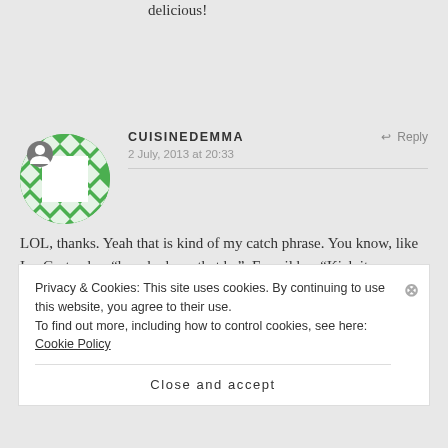delicious!
CUISINEDEMMA says:
2 July, 2013 at 20:33
LOL, thanks. Yeah that is kind of my catch phrase. You know, like Ina Garten has “how bad can that be”, Emeril has “Kick it up a notch” and Alton Brown has “Good Eats”. If I were a famous cooking show
Privacy & Cookies: This site uses cookies. By continuing to use this website, you agree to their use.
To find out more, including how to control cookies, see here: Cookie Policy
Close and accept